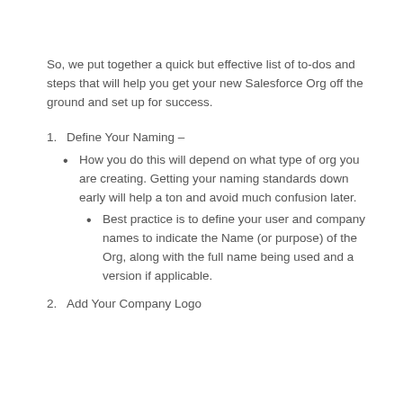So, we put together a quick but effective list of to-dos and steps that will help you get your new Salesforce Org off the ground and set up for success.
1. Define Your Naming –
How you do this will depend on what type of org you are creating. Getting your naming standards down early will help a ton and avoid much confusion later.
Best practice is to define your user and company names to indicate the Name (or purpose) of the Org, along with the full name being used and a version if applicable.
2. Add Your Company Logo